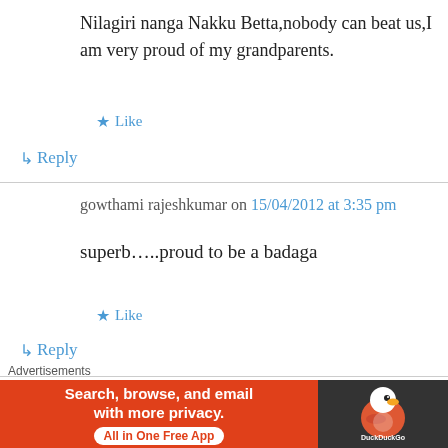Nilagiri nanga Nakku Betta,nobody can beat us,I am very proud of my grandparents.
★ Like
↳ Reply
gowthami rajeshkumar on 15/04/2012 at 3:35 pm
superb…..proud to be a badaga
★ Like
↳ Reply
Vimal Sivalingam(Kodamalai) on 18/03/2012 at 9:33
[Figure (screenshot): DuckDuckGo advertisement banner: 'Search, browse, and email with more privacy. All in One Free App' with DuckDuckGo logo on dark background]